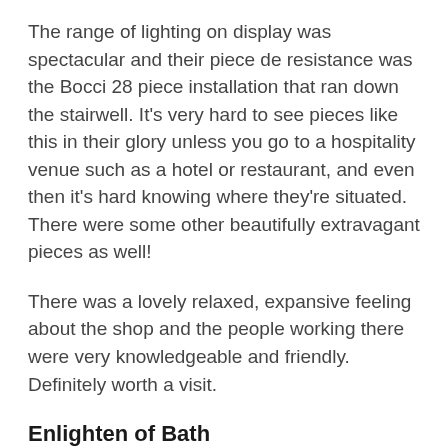The range of lighting on display was spectacular and their piece de resistance was the Bocci 28 piece installation that ran down the stairwell. It's very hard to see pieces like this in their glory unless you go to a hospitality venue such as a hotel or restaurant, and even then it's hard knowing where they're situated. There were some other beautifully extravagant pieces as well!
There was a lovely relaxed, expansive feeling about the shop and the people working there were very knowledgeable and friendly. Definitely worth a visit.
Enlighten of Bath
Enlighten of Bath is smaller and has the appearance of being slightly crammed, which is why you will probably need some assistance to find what you're looking for. At first sight, it seems more for traditional tastes, although the owner, interior designer Anne Fisher, can help you select more